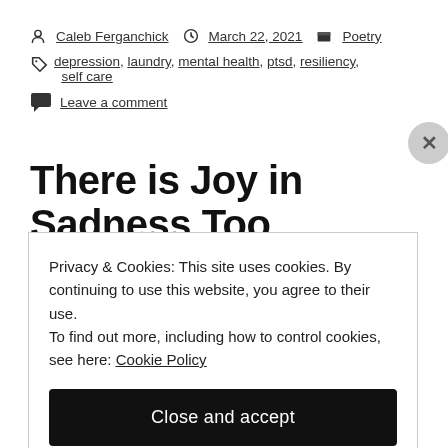Caleb Ferganchick · March 22, 2021 · Poetry
depression, laundry, mental health, ptsd, resiliency, self care
Leave a comment
There is Joy in Sadness Too
Privacy & Cookies: This site uses cookies. By continuing to use this website, you agree to their use.
To find out more, including how to control cookies, see here: Cookie Policy
Close and accept